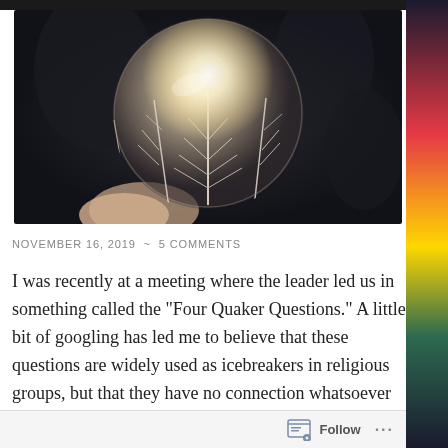[Figure (photo): A frozen soap bubble or crystal ball held by a hand, with frost crystal formations visible inside and a bright glowing light source at top, dark blurred background]
NOVEMBER 16, 2019  ~  5 COMMENTS
I was recently at a meeting where the leader led us in something called the "Four Quaker Questions." A little bit of googling has led me to believe that these questions are widely used as icebreakers in religious groups, but that they have no connection whatsoever to the Society of